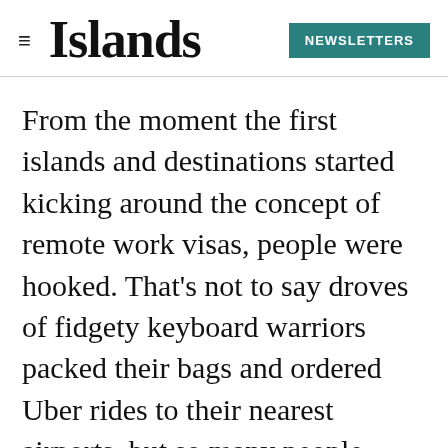Islands | NEWSLETTERS
From the moment the first islands and destinations started kicking around the concept of remote work visas, people were hooked. That's not to say droves of fidgety keyboard warriors packed their bags and ordered Uber rides to their nearest airports, but so many people undoubtedly wondered if it was possible and reasonable to spend the next week, month, or even year answering emails, updating spreadsheets, and hosting Zoom meetings with a gorgeous beach in the